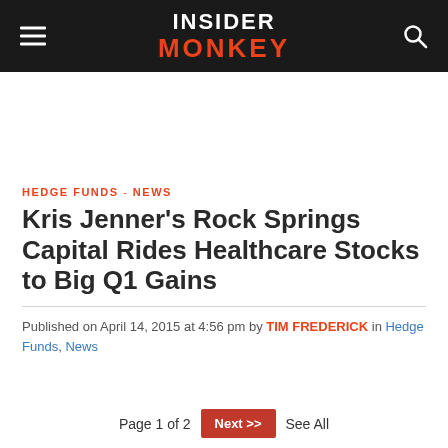INSIDER MONKEY
HEDGE FUNDS - NEWS
Kris Jenner's Rock Springs Capital Rides Healthcare Stocks to Big Q1 Gains
Published on April 14, 2015 at 4:56 pm by TIM FREDERICK in Hedge Funds, News
Page 1 of 2  Next >>  See All